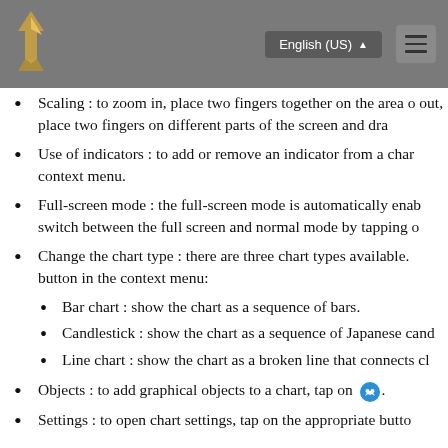English (US)
Scaling : to zoom in, place two fingers together on the area of out, place two fingers on different parts of the screen and dra
Use of indicators : to add or remove an indicator from a char context menu.
Full-screen mode : the full-screen mode is automatically enab switch between the full screen and normal mode by tapping o
Change the chart type : there are three chart types available. button in the context menu:
Bar chart : show the chart as a sequence of bars.
Candlestick : show the chart as a sequence of Japanese cand
Line chart : show the chart as a broken line that connects cl
Objects : to add graphical objects to a chart, tap on [icon].
Settings : to open chart settings, tap on the appropriate butto